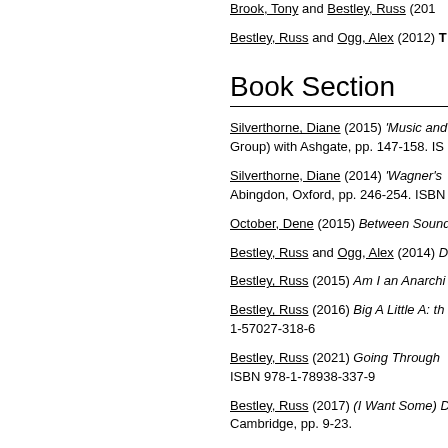Brook, Tony and Bestley, Russ (2010) [truncated]
Bestley, Russ and Ogg, Alex (2012) [truncated]
Book Section
Silverthorne, Diane (2015) 'Music and... Group) with Ashgate, pp. 147-158. IS
Silverthorne, Diane (2014) 'Wagner's ... Abingdon, Oxford, pp. 246-254. ISBN
October, Dene (2015) Between Sound...
Bestley, Russ and Ogg, Alex (2014) D...
Bestley, Russ (2015) Am I an Anarchi...
Bestley, Russ (2016) Big A Little A: th... 1-57027-318-6
Bestley, Russ (2021) Going Through ... ISBN 978-1-78938-337-9
Bestley, Russ (2017) (I Want Some) D... Cambridge, pp. 9-23.
Bestley, Russ (2012) Punk and New W... 9781780384528